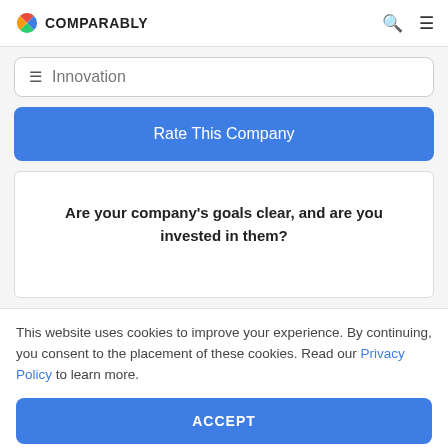COMPARABLY
Innovation
Rate This Company
Are your company's goals clear, and are you invested in them?
This website uses cookies to improve your experience. By continuing, you consent to the placement of these cookies. Read our Privacy Policy to learn more.
ACCEPT